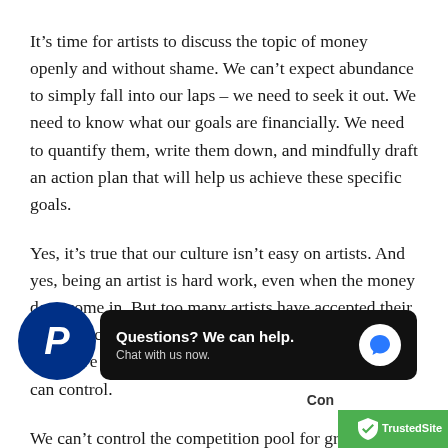It's time for artists to discuss the topic of money openly and without shame. We can't expect abundance to simply fall into our laps – we need to seek it out. We need to know what our goals are financially. We need to quantify them, write them down, and mindfully draft an action plan that will help us achieve these specific goals.
Yes, it's true that our culture isn't easy on artists. And yes, being an artist is hard work, even when the money does come in. But too many artists have accepted their role as victims. Perhaps it's time to move past the things we can't control, and instead, focus on what we can control.
We can't control the competition pool for grants and residences and stipends... an control how we apply and prepare where we apply. Perhaps a day job is necessary right now...